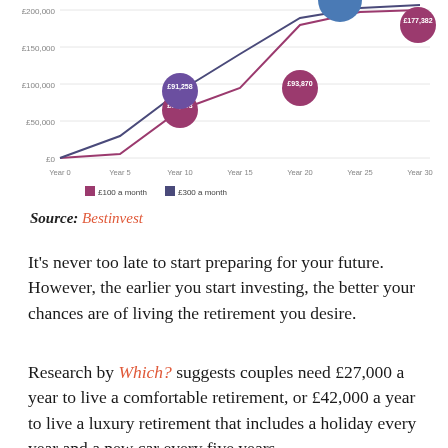[Figure (line-chart): Investment growth over time]
Source: Bestinvest
It's never too late to start preparing for your future. However, the earlier you start investing, the better your chances are of living the retirement you desire.
Research by Which? suggests couples need £27,000 a year to live a comfortable retirement, or £42,000 a year to live a luxury retirement that includes a holiday every year and a new car every five years.